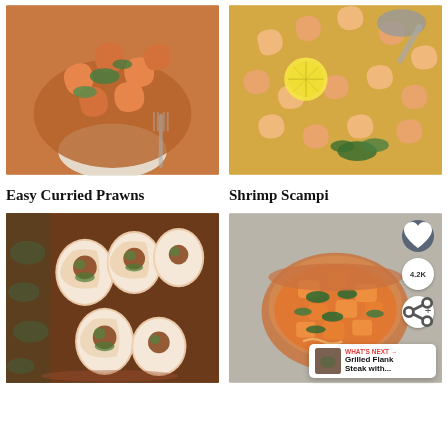[Figure (photo): Bowl of curried prawns over white rice with herbs and sauce]
[Figure (photo): Pan of shrimp scampi with lemon slices, herbs, and a serving spoon]
Easy Curried Prawns
Shrimp Scampi
[Figure (photo): Sliced stuffed pork loin roll showing spiral filling of herbs]
[Figure (photo): Bowl of orange stir-fry with vegetables, with overlaid UI elements showing heart icon, 4.2K count, share icon, and What's Next prompt for Grilled Flank Steak with...]